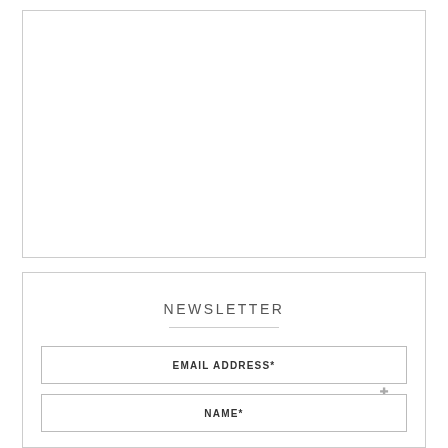[Figure (other): Empty white box with thin border, placeholder image area]
NEWSLETTER
EMAIL ADDRESS*
NAME*